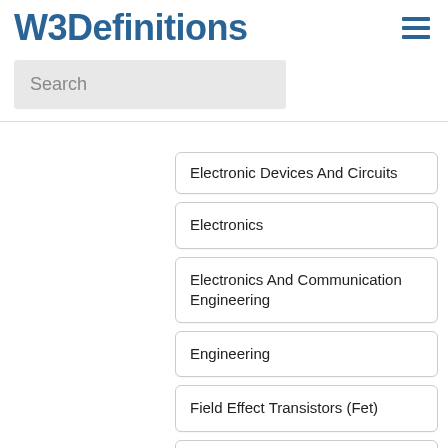W3Definitions
Search
Electronic Devices And Circuits
Electronics
Electronics And Communication Engineering
Engineering
Field Effect Transistors (Fet)
Financial Accounting
Financial Reporting
Financial Statements